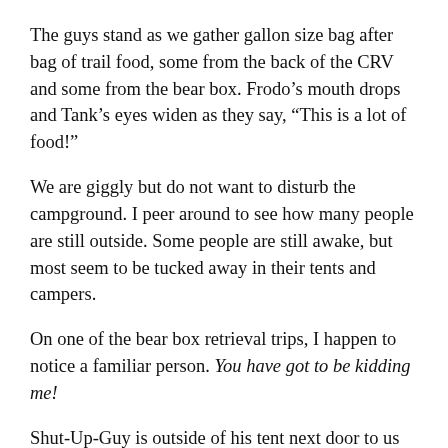The guys stand as we gather gallon size bag after bag of trail food, some from the back of the CRV and some from the bear box. Frodo’s mouth drops and Tank’s eyes widen as they say, “This is a lot of food!”
We are giggly but do not want to disturb the campground. I peer around to see how many people are still outside. Some people are still awake, but most seem to be tucked away in their tents and campers.
On one of the bear box retrieval trips, I happen to notice a familiar person. You have got to be kidding me!
Shut-Up-Guy is outside of his tent next door to us in campsite 3. He shakes his head perhaps in disbelief too.
We pile plastic bag after bag into Tank and Frodo’s arms all while they are angry about the amount of food.